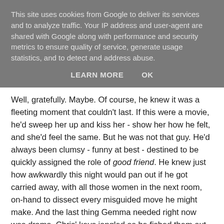This site uses cookies from Google to deliver its services and to analyze traffic. Your IP address and user-agent are shared with Google along with performance and security metrics to ensure quality of service, generate usage statistics, and to detect and address abuse.
LEARN MORE    OK
Well, gratefully. Maybe. Of course, he knew it was a fleeting moment that couldn't last. If this were a movie, he'd sweep her up and kiss her - show her how he felt, and she'd feel the same. But he was not that guy. He'd always been clumsy - funny at best - destined to be quickly assigned the role of good friend. He knew just how awkwardly this night would pan out if he got carried away, with all those women in the next room, on-hand to dissect every misguided move he might make. And the last thing Gemma needed right now was drama. Chris' keys jangled as he fished them out his pocket. It was time to leave before he could make a fool of himself.